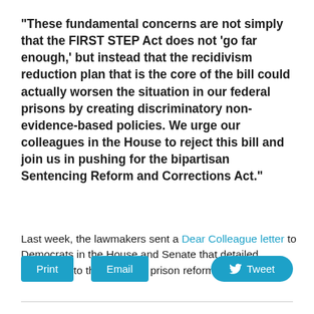"These fundamental concerns are not simply that the FIRST STEP Act does not ‘go far enough,’ but instead that the recidivism reduction plan that is the core of the bill could actually worsen the situation in our federal prisons by creating discriminatory non-evidence-based policies. We urge our colleagues in the House to reject this bill and join us in pushing for the bipartisan Sentencing Reform and Corrections Act."
Last week, the lawmakers sent a Dear Colleague letter to Democrats in the House and Senate that detailed opposition to the so-called prison reform bill.